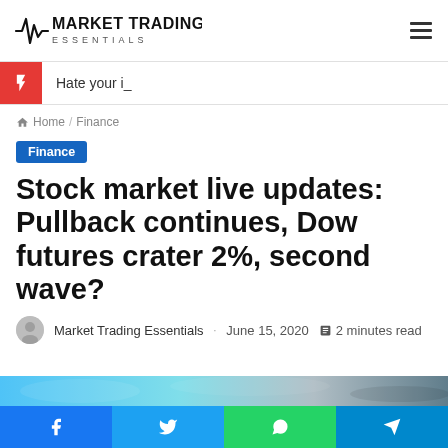Market Trading Essentials
Hate your i_
Home / Finance
Finance
Stock market live updates: Pullback continues, Dow futures crater 2%, second wave?
Market Trading Essentials · June 15, 2020 ◼ 2 minutes read
[Figure (photo): Article header image partially visible at bottom of page]
Social share buttons: Facebook, Twitter, WhatsApp, Telegram